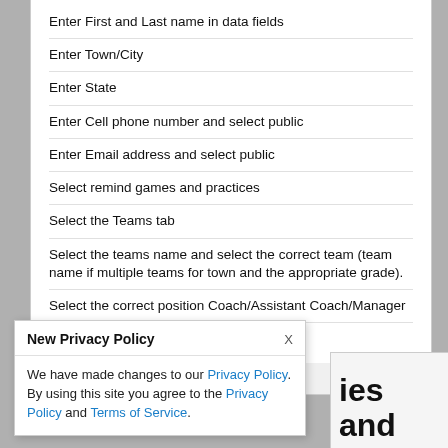Enter First and Last name in data fields
Enter Town/City
Enter State
Enter Cell phone number and select public
Enter Email address and select public
Select remind games and practices
Select the Teams tab
Select the teams name and select the correct team (team name if multiple teams for town and the appropriate grade).
Select the correct position Coach/Assistant Coach/Manager
Select submit to save the changes.
by: Steve Kirby
New Privacy Policy
We have made changes to our Privacy Policy. By using this site you agree to the Privacy Policy and Terms of Service.
ies and